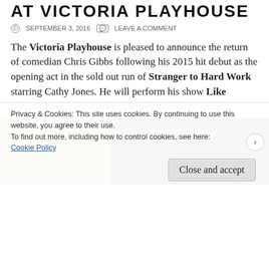AT VICTORIA PLAYHOUSE
SEPTEMBER 3, 2016   LEAVE A COMMENT
The Victoria Playhouse is pleased to announce the return of comedian Chris Gibbs following his 2015 hit debut as the opening act in the sold out run of Stranger to Hard Work starring Cathy Jones. He will perform his show Like Father, Like Son? Sorry from September 10 – 16.
[Figure (photo): Partial photo of a man with dark hair, cropped to show top of head against a warm background]
Privacy & Cookies: This site uses cookies. By continuing to use this website, you agree to their use.
To find out more, including how to control cookies, see here:
Cookie Policy
Close and accept